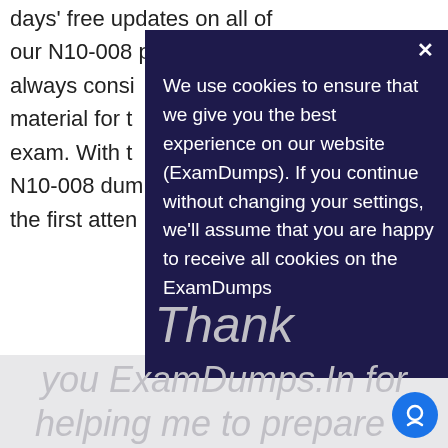days' free updates on all of our N10-008 pdf dumps from always consi material for t exam. With t N10-008 dum the first atten
We use cookies to ensure that we give you the best experience on our website (ExamDumps). If you continue without changing your settings, we'll assume that you are happy to receive all cookies on the ExamDumps
Thank you ExamDumps.In for helping me to prepare